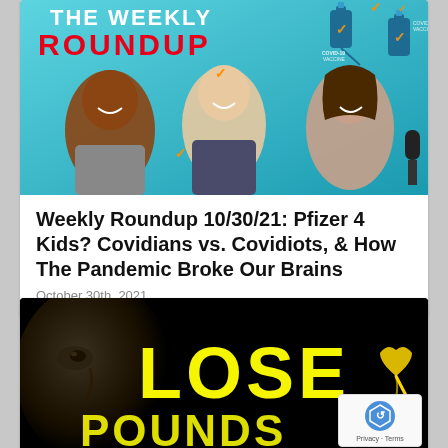[Figure (photo): Podcast thumbnail for 'The Weekly Roundup' showing three hosts against a teal/blue background with COVID-19 vaccine bottle illustrations. Title text 'THE WEEKLY ROUNDUP' with 'ROUNDUP' in red bold letters.]
Weekly Roundup 10/30/21: Pfizer 4 Kids? Covidians vs. Covidiots, & How The Pandemic Broke Our Brains
October 30th, 2021
[Figure (screenshot): Dark thumbnail image with large yellow text 'LOSE' and a partially visible man's face on the left side against a black background. Partial yellow text visible at the bottom.]